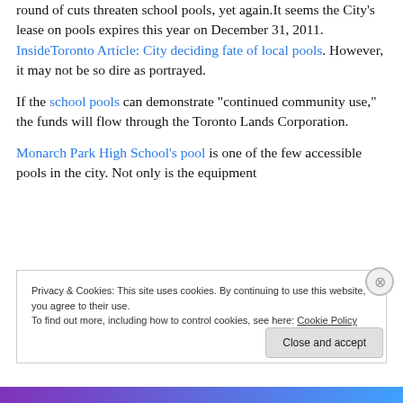A small news article in the local paper flagged another round of cuts threaten school pools, yet again. It seems the City's lease on pools expires this year on December 31, 2011. InsideToronto Article: City deciding fate of local pools. However, it may not be so dire as portrayed.

If the school pools can demonstrate “continued community use,” the funds will flow through the Toronto Lands Corporation.

Monarch Park High School’s pool is one of the few accessible pools in the city. Not only is the equipment
Privacy & Cookies: This site uses cookies. By continuing to use this website, you agree to their use.
To find out more, including how to control cookies, see here: Cookie Policy
Close and accept